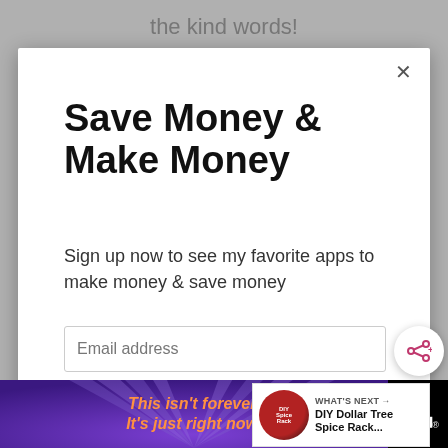the kind words!
Save Money & Make Money
Sign up now to see my favorite apps to make money & save money
Email address
Get It Now
WHAT'S NEXT → DIY Dollar Tree Spice Rack...
This isn't forever. It's just right now.